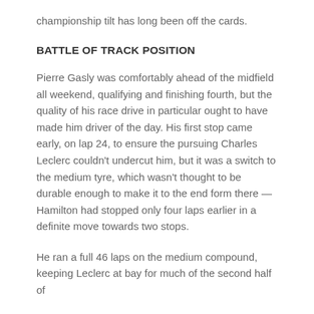championship tilt has long been off the cards.
BATTLE OF TRACK POSITION
Pierre Gasly was comfortably ahead of the midfield all weekend, qualifying and finishing fourth, but the quality of his race drive in particular ought to have made him driver of the day. His first stop came early, on lap 24, to ensure the pursuing Charles Leclerc couldn't undercut him, but it was a switch to the medium tyre, which wasn't thought to be durable enough to make it to the end form there — Hamilton had stopped only four laps earlier in a definite move towards two stops.
He ran a full 46 laps on the medium compound, keeping Leclerc at bay for much of the second half of